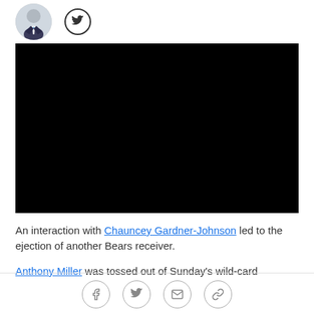[Figure (photo): Author avatar photo (person in suit with blue tie) and Twitter icon button]
[Figure (photo): Black video embed/player block]
An interaction with Chauncey Gardner-Johnson led to the ejection of another Bears receiver.
Anthony Miller was tossed out of Sunday's wild-card
[Figure (infographic): Social share icons: Facebook, Twitter, email, link]